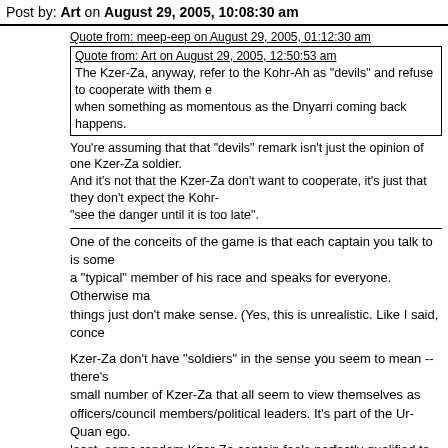Post by: Art on August 29, 2005, 10:08:30 am
Quote from: meep-eep on August 29, 2005, 01:12:30 am
Quote from: Art on August 29, 2005, 12:50:53 am
The Kzer-Za, anyway, refer to the Kohr-Ah as "devils" and refuse to cooperate with them even when something as momentous as the Dnyarri coming back happens.
You're assuming that that "devils" remark isn't just the opinion of one Kzer-Za soldier. And it's not that the Kzer-Za don't want to cooperate, it's just that they don't expect the Kohr-Ah to "see the danger until it is too late".
One of the conceits of the game is that each captain you talk to is some a "typical" member of his race and speaks for everyone. Otherwise many things just don't make sense. (Yes, this is unrealistic. Like I said, conce
Kzer-Za don't have "soldiers" in the sense you seem to mean -- there's a small number of Kzer-Za that all seem to view themselves as officers/council members/political leaders. It's part of the Ur-Quan ego. At least, some random Kzer-Za captain feels perfectly qualified to decide your crimes merit execution, that you will be punished but your crew won't if you surrender, that you can be absolved of your crimes if you tell them about the Dnyarri, that they shouldn't talk to the Kohr-Ah Primat, etc.
And that excuse is a dumb one. Of course the Kohr-Ah won't see the danger until it's too late if they aren't told at all. Yes, the Kohr-Ah could slow down the process of searching for the Dnyarri if they argue or purposely try to obstruct or whatever, and yet it still seems far more logical to give the Kohr-Ah the *chance* to help rather than blindly insist on fighting the Doctrinal Conflict to its end. It feels like the Kzer-Za simply distrust the Kohr-Ah by instinct -- assume they will be headstrong and unhelpful -- even in the direst of straits.